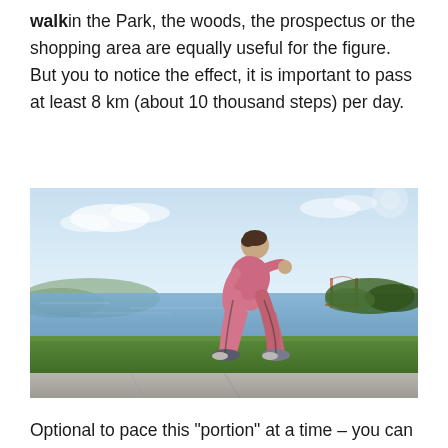walk in the Park, the woods, the prospectus or the shopping area are equally useful for the figure. But you to notice the effect, it is important to pass at least 8 km (about 10 thousand steps) per day.
[Figure (photo): A woman in pink tracksuit power-walking along a paved path beside a grassy area with a bay and bridge in the background under a bright sky.]
Optional to pace this “portion” at a time – you can